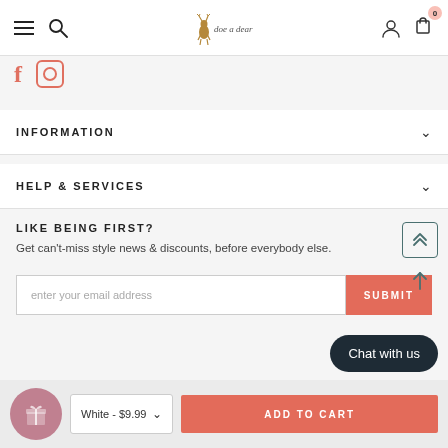doe a dear — navigation bar with hamburger menu, search, logo, user account, cart (0)
[Figure (other): Facebook and Instagram social media icons in salmon/coral color]
INFORMATION
HELP & SERVICES
LIKE BEING FIRST?
Get can't-miss style news & discounts, before everybody else.
enter your email address
SUBMIT
White - $9.99
ADD TO CART
Chat with us